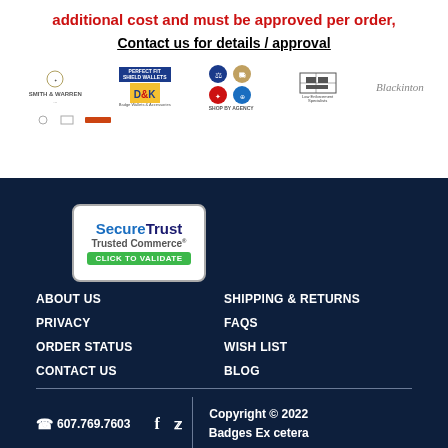additional cost and must be approved per order,
Contact us for details / approval
[Figure (logo): Row of brand logos: Smith & Warren, Perfect Fit Shield Wallets / D&K, Shop By Agency (federal seals), unidentified brand with grid icon, Blackinton]
[Figure (logo): SecureTrust Trusted Commerce CLICK TO VALIDATE badge]
ABOUT US
SHIPPING & RETURNS
PRIVACY
FAQS
ORDER STATUS
WISH LIST
CONTACT US
BLOG
607.769.7603
Copyright © 2022 Badges Ex cetera
[Figure (logo): Authorize.Net Verified Click badge]